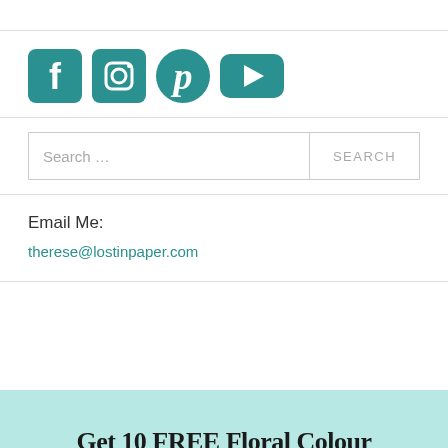[Figure (illustration): Social media icons: Facebook, Instagram, Pinterest, YouTube in teal color]
Search …
SEARCH
Email Me:
therese@lostinpaper.com
Get 10 FREE Floral Colour